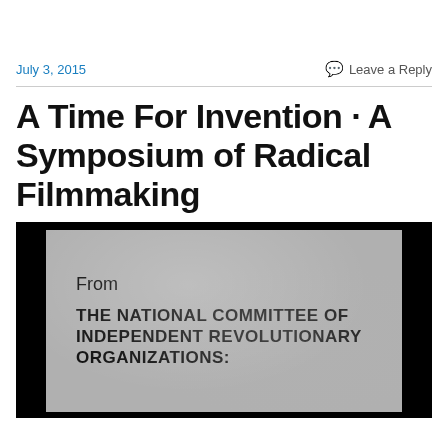July 3, 2015 | Leave a Reply
A Time For Invention · A Symposium of Radical Filmmaking
[Figure (photo): Black and white photograph of a printed document/pamphlet showing text: 'From THE NATIONAL COMMITTEE OF INDEPENDENT REVOLUTIONARY ORGANIZATIONS:' on a grey textured background with black border]